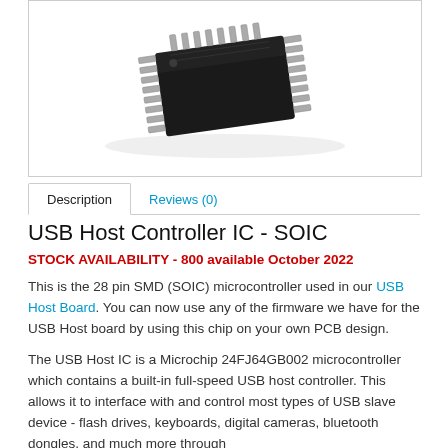[Figure (photo): Photo of a 28-pin SOIC SMD microcontroller chip (USB Host Controller IC), black rectangular package with silver leads on both sides, angled view]
Description | Reviews (0)
USB Host Controller IC - SOIC
STOCK AVAILABILITY - 800 available October 2022
This is the 28 pin SMD (SOIC) microcontroller used in our USB Host Board. You can now use any of the firmware we have for the USB Host board by using this chip on your own PCB design.
The USB Host IC is a Microchip 24FJ64GB002 microcontroller which contains a built-in full-speed USB host controller. This allows it to interface with and control most types of USB slave device - flash drives, keyboards, digital cameras, bluetooth dongles, and much more through